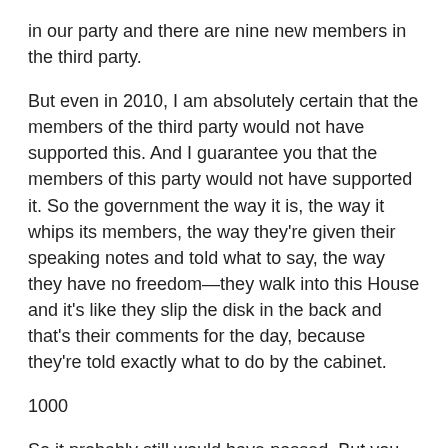in our party and there are nine new members in the third party.
But even in 2010, I am absolutely certain that the members of the third party would not have supported this. And I guarantee you that the members of this party would not have supported it. So the government the way it is, the way it whips its members, the way they're given their speaking notes and told what to say, the way they have no freedom—they walk into this House and it's like they slip the disk in the back and that's their comments for the day, because they're told exactly what to do by the cabinet.
1000
So it probably still would have passed. But you know what? No, it wouldn't have passed, because then the light of day would have been shone on it. Then the press—even though the press likes those guys, they don't like what they did there—would have said no. The people who represent